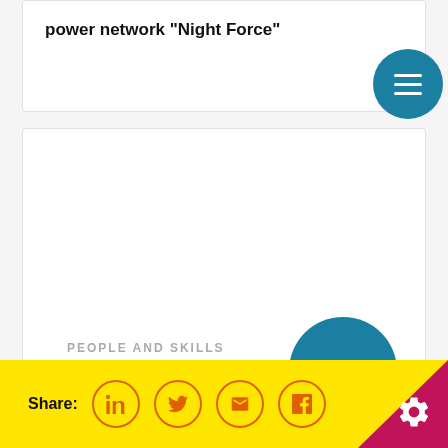power network "Night Force"
[Figure (infographic): Large white card with a teal/blue circle in the lower right area]
PEOPLE AND SKILLS
Share: [LinkedIn] [Twitter] [Email] [Facebook]